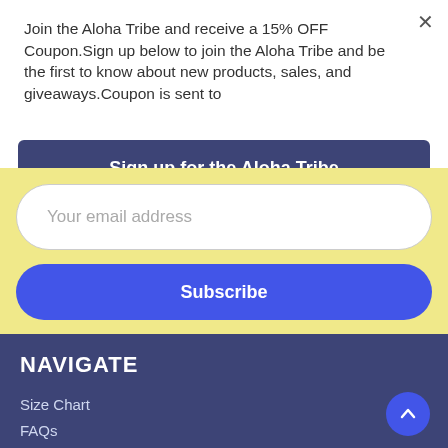Join the Aloha Tribe and receive a 15% OFF Coupon.Sign up below to join the Aloha Tribe and be the first to know about new products, sales, and giveaways.Coupon is sent to
Sign up for the Aloha Tribe
Your email address
Subscribe
NAVIGATE
Size Chart
FAQs